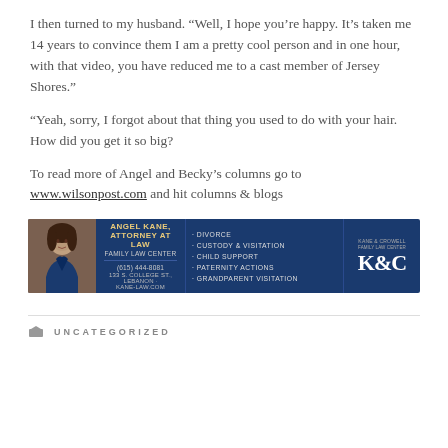I then turned to my husband. “Well, I hope you’re happy. It’s taken me 14 years to convince them I am a pretty cool person and in one hour, with that video, you have reduced me to a cast member of Jersey Shores.”
“Yeah, sorry, I forgot about that thing you used to do with your hair. How did you get it so big?
To read more of Angel and Becky’s columns go to www.wilsonpost.com and hit columns & blogs
[Figure (infographic): Angel Kane Attorney at Law advertisement banner. Navy blue background with photo of woman on left. Text: Angel Kane, Attorney at Law, Family Law Center, (615) 444-8081, 133 S. College St., Lebanon, Kane-Law.com. Services listed: Divorce, Custody & Visitation, Child Support, Paternity Actions, Grandparent Visitation. K&C logo on right.]
UNCATEGORIZED